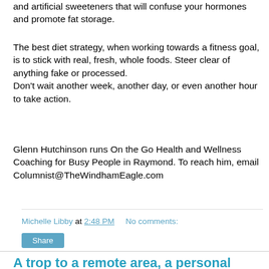and artificial sweeteners that will confuse your hormones and promote fat storage.
The best diet strategy, when working towards a fitness goal, is to stick with real, fresh, whole foods. Steer clear of anything fake or processed.
Don't wait another week, another day, or even another hour to take action.
Glenn Hutchinson runs On the Go Health and Wellness Coaching for Busy People in Raymond. To reach him, email Columnist@TheWindhamEagle.com
Michelle Libby at 2:48 PM   No comments:
Share
A trop to a remote area, a personal account By David Field